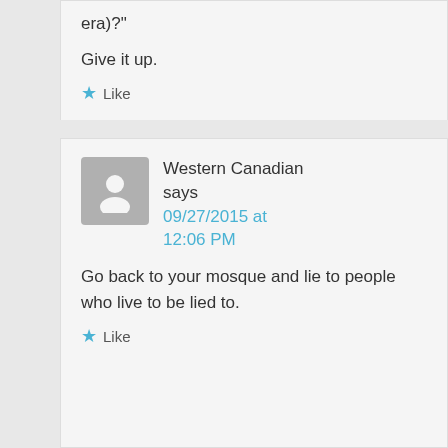era)?"
Give it up.
Like
Western Canadian says 09/27/2015 at 12:06 PM
Go back to your mosque and lie to people who live to be lied to.
Like